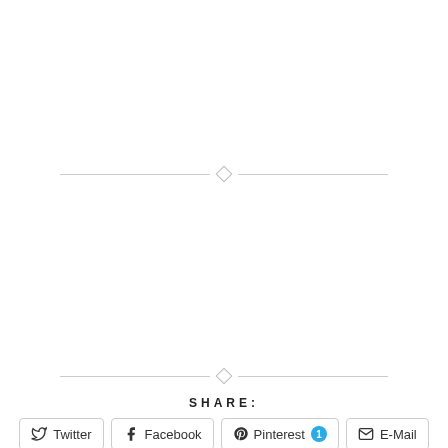[Figure (other): Decorative horizontal divider with diamond shape in center, light gray lines extending to both sides (upper divider)]
[Figure (other): Decorative horizontal divider with diamond shape in center, light gray lines extending to both sides (lower divider)]
SHARE:
Twitter  Facebook  Pinterest 1  E-Mail
Datenschutz & Cookies: Diese Website verwendet Cookies. Wenn du die Website weiterhin nutzt, stimmst du der Verwendung von Cookies zu. Weitere Informationen, beispielsweise zur Kontrolle von Cookies, findest du hier: Cooki
Schließen und Akzeptieren